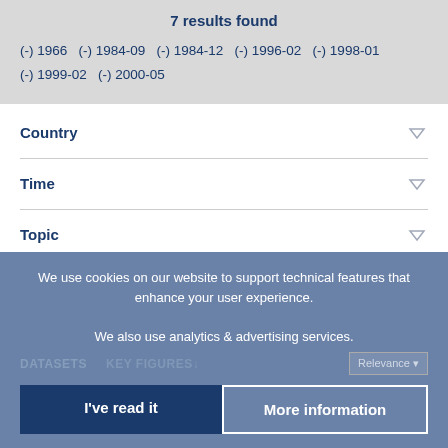7 results found
(-) 1966  (-) 1984-09  (-) 1984-12  (-) 1996-02  (-) 1998-01  (-) 1999-02  (-) 2000-05
Country
Time
Topic
Source
JEL Code
We use cookies on our website to support technical features that enhance your user experience.

We also use analytics & advertising services.
DATASETS    KEY FIGURES
Relevance
I've read it
More information